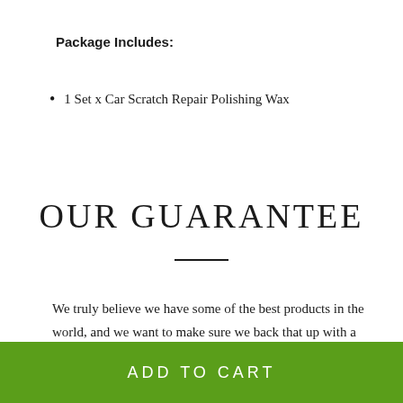Package Includes:
1 Set x Car Scratch Repair Polishing Wax
OUR GUARANTEE
We truly believe we have some of the best products in the world, and we want to make sure we back that up with a
ADD TO CART